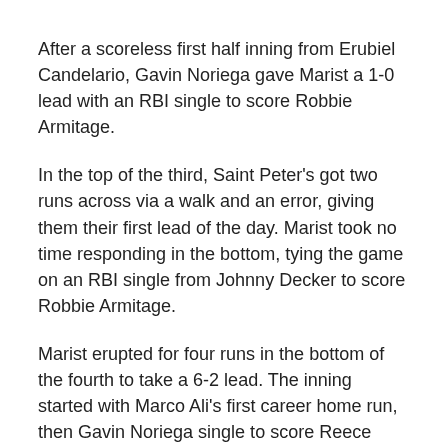After a scoreless first half inning from Erubiel Candelario, Gavin Noriega gave Marist a 1-0 lead with an RBI single to score Robbie Armitage.
In the top of the third, Saint Peter's got two runs across via a walk and an error, giving them their first lead of the day. Marist took no time responding in the bottom, tying the game on an RBI single from Johnny Decker to score Robbie Armitage.
Marist erupted for four runs in the bottom of the fourth to take a 6-2 lead. The inning started with Marco Ali's first career home run, then Gavin Noriega single to score Reece Armitage gave Marist a 4-2 lead. Next at-bat, Brian Hart hit his sixth triple of the year to score two runs. Hart is now tied for the MAAC lead for triples this season.